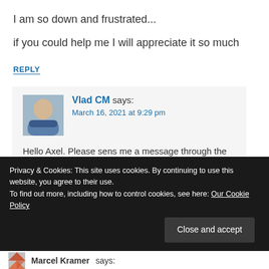I am so down and frustrated...
if you could help me I will appreciate it so much
REPLY
Vlad CM says:
March 16, 2021 at 9:29 pm
Hello Axel. Please sens me a message through the contact form and I'll get back to you shortly.
Privacy & Cookies: This site uses cookies. By continuing to use this website, you agree to their use.
To find out more, including how to control cookies, see here: Our Cookie Policy
Close and accept
Marcel Kramer says: